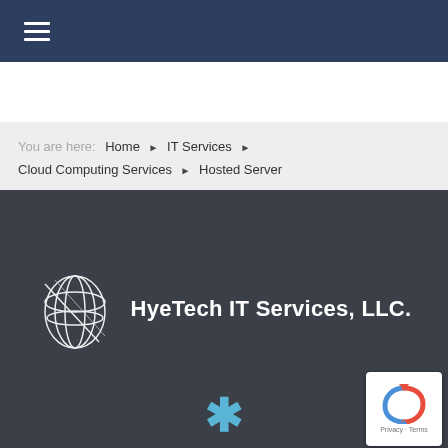Navigation bar with hamburger menu
You are here: Home ▶ IT Services ▶ Cloud Computing Services ▶ Hosted Server
[Figure (logo): HyeTech IT Services, LLC. logo with globe icon on dark background]
[Figure (other): reCAPTCHA privacy badge bottom right]